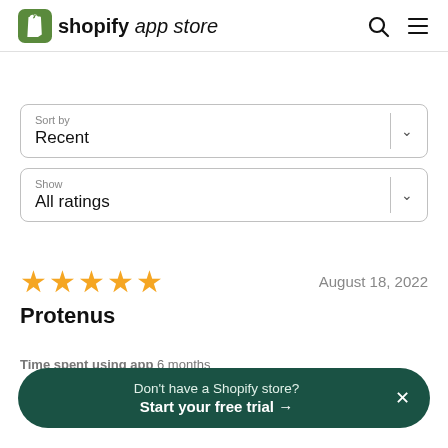shopify app store
Sort by
Recent
Show
All ratings
★★★★★  August 18, 2022
Protenus
Time spent using app  6 months
Don't have a Shopify store? Start your free trial →